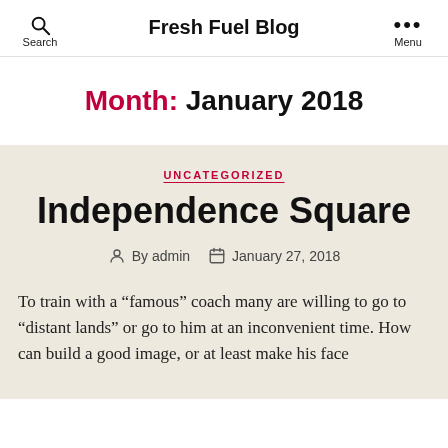Fresh Fuel Blog
Month: January 2018
UNCATEGORIZED
Independence Square
By admin  January 27, 2018
To train with a “famous” coach many are willing to go to “distant lands” or go to him at an inconvenient time. How can build a good image, or at least make his face